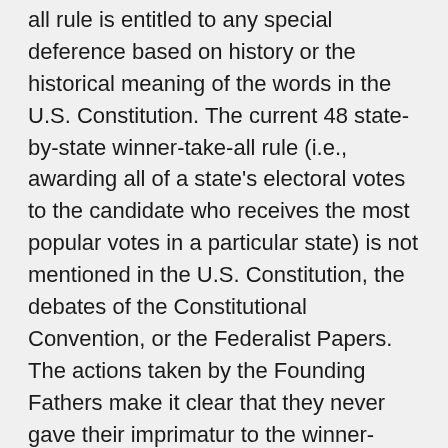all rule is entitled to any special deference based on history or the historical meaning of the words in the U.S. Constitution. The current 48 state-by-state winner-take-all rule (i.e., awarding all of a state's electoral votes to the candidate who receives the most popular votes in a particular state) is not mentioned in the U.S. Constitution, the debates of the Constitutional Convention, or the Federalist Papers. The actions taken by the Founding Fathers make it clear that they never gave their imprimatur to the winner-take-all rule.
The constitutional wording does not encourage, discourage, require, or prohibit the use of any particular method for awarding the state's electoral votes.
As a result of changes in state laws enacted